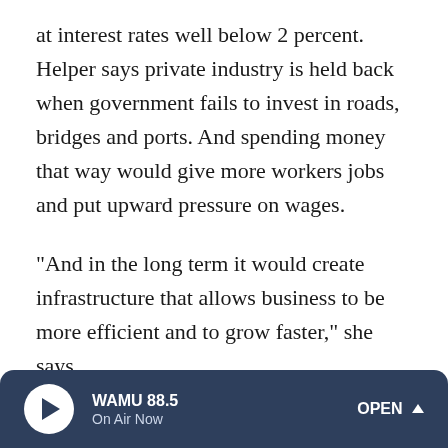at interest rates well below 2 percent. Helper says private industry is held back when government fails to invest in roads, bridges and ports. And spending money that way would give more workers jobs and put upward pressure on wages.
"And in the long term it would create infrastructure that allows business to be more efficient and to grow faster," she says.
Clinton and Trump both support boosting infrastructure spending. But while faster economic growth is necessary to create jobs and opportunity, Helper says it's not enough to lift everyone's boat. Just look at the booming growth in places
WAMU 88.5 On Air Now OPEN